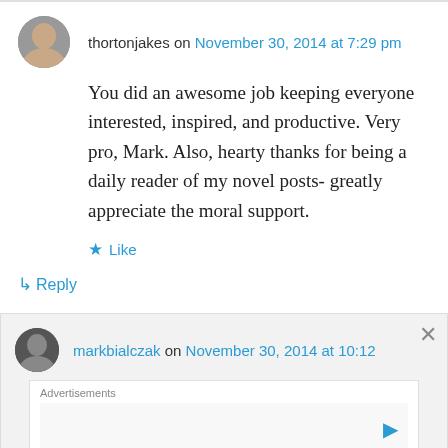thortonjakes on November 30, 2014 at 7:29 pm
You did an awesome job keeping everyone interested, inspired, and productive. Very pro, Mark. Also, hearty thanks for being a daily reader of my novel posts- greatly appreciate the moral support.
Like
Reply
markbialczak on November 30, 2014 at 10:12
Advertisements